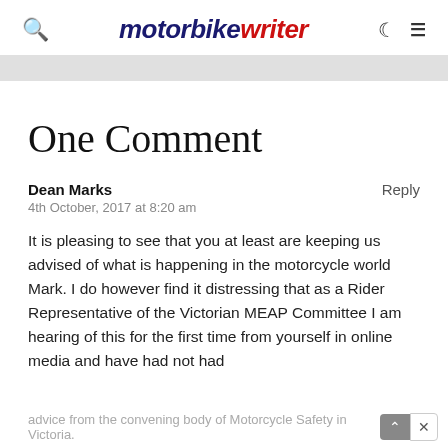motorbike writer
One Comment
Dean Marks
4th October, 2017 at 8:20 am
It is pleasing to see that you at least are keeping us advised of what is happening in the motorcycle world Mark. I do however find it distressing that as a Rider Representative of the Victorian MEAP Committee I am hearing of this for the first time from yourself in online media and have had not had advice from the convening body of Motorcycle Safety in Victoria.